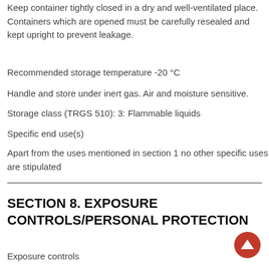Keep container tightly closed in a dry and well-ventilated place. Containers which are opened must be carefully resealed and kept upright to prevent leakage.
Recommended storage temperature -20 °C
Handle and store under inert gas. Air and moisture sensitive.
Storage class (TRGS 510): 3: Flammable liquids
Specific end use(s)
Apart from the uses mentioned in section 1 no other specific uses are stipulated
SECTION 8. EXPOSURE CONTROLS/PERSONAL PROTECTION
Exposure controls